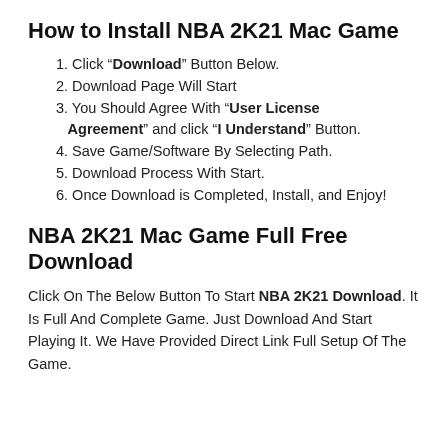How to Install NBA 2K21 Mac Game
1. Click “Download” Button Below.
2. Download Page Will Start
3. You Should Agree With “User License Agreement” and click “I Understand” Button.
4. Save Game/Software By Selecting Path.
5. Download Process With Start.
6. Once Download is Completed, Install, and Enjoy!
NBA 2K21 Mac Game Full Free Download
Click On The Below Button To Start NBA 2K21 Download. It Is Full And Complete Game. Just Download And Start Playing It. We Have Provided Direct Link Full Setup Of The Game.